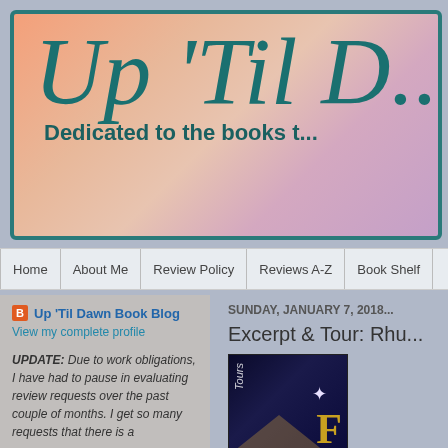[Figure (screenshot): Blog header banner with pink/peach/purple gradient background, teal border, large italic script title 'Up 'Til D...' and subtitle 'Dedicated to the books t...']
Up 'Til D... | Dedicated to the books t...
Home | About Me | Review Policy | Reviews A-Z | Book Shelf
Up 'Til Dawn Book Blog
View my complete profile
UPDATE: Due to work obligations, I have had to pause in evaluating review requests over the past couple of months. I get so many requests that there is a
SUNDAY, JANUARY 7, 2018
Excerpt & Tour: Rhu...
[Figure (photo): Book cover with dark blue/night sky background, gold letter, tours text, and star light]